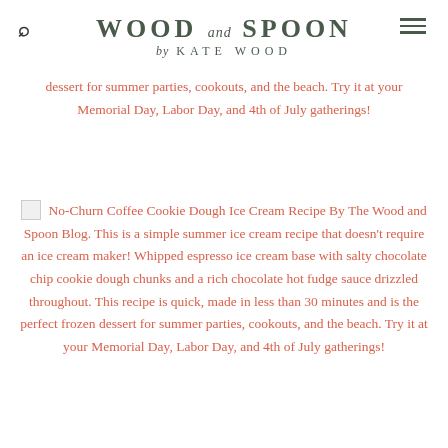WOOD and SPOON by KATE WOOD
dessert for summer parties, cookouts, and the beach. Try it at your Memorial Day, Labor Day, and 4th of July gatherings!
No-Churn Coffee Cookie Dough Ice Cream Recipe By The Wood and Spoon Blog. This is a simple summer ice cream recipe that doesn't require an ice cream maker! Whipped espresso ice cream base with salty chocolate chip cookie dough chunks and a rich chocolate hot fudge sauce drizzled throughout. This recipe is quick, made in less than 30 minutes and is the perfect frozen dessert for summer parties, cookouts, and the beach. Try it at your Memorial Day, Labor Day, and 4th of July gatherings!